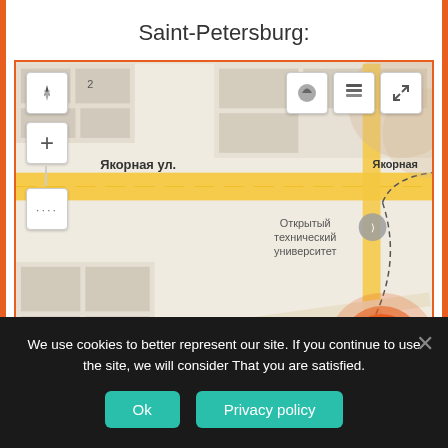Saint-Petersburg:
[Figure (map): Street map showing Saint-Petersburg area with Якорная ул. (Yakornaya Street), Магнитогорская ул., Открытый технический университет, Островок счастья, Лукойл, and Симед locations marked. Map controls visible including navigation, zoom, layers buttons.]
We use cookies to better represent our site. If you continue to use the site, we will consider That you are satisfied.